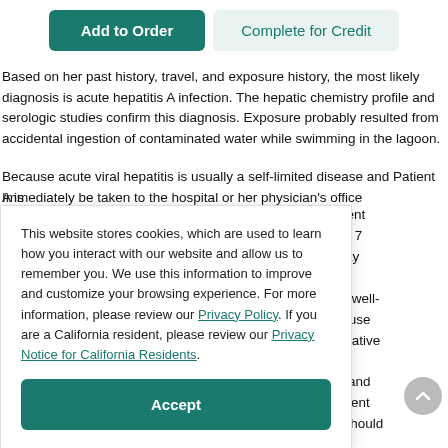[Figure (screenshot): UI buttons: 'Add to Order' (teal filled) and 'Complete for Credit' (teal text on light background)]
Based on her past history, travel, and exposure history, the most likely diagnosis is acute hepatitis A infection. The hepatic chemistry profile and serologic studies confirm this diagnosis. Exposure probably resulted from accidental ingestion of contaminated water while swimming in the lagoon.
Because acute viral hepatitis is usually a self-limited disease and Patient A is
This website stores cookies, which are used to learn how you interact with our website and allow us to remember you. We use this information to improve and customize your browsing experience. For more information, please review our Privacy Policy. If you are a California resident, please review our Privacy Notice for California Residents.
itpatient
y 5 to 7
14-day
s not
eat a well-
Because
alternative
are
food and
he event
she should
Immediately be taken to the hospital or her physician's office